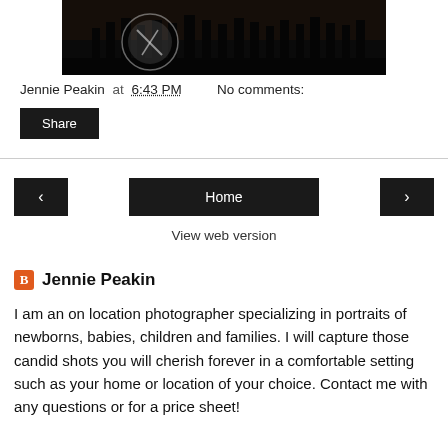[Figure (photo): Dark photograph showing silhouettes of people at sunset/dusk with a circular logo/watermark overlay]
Jennie Peakin at 6:43 PM   No comments:
Share
‹
Home
›
View web version
Jennie Peakin
I am an on location photographer specializing in portraits of newborns, babies, children and families. I will capture those candid shots you will cherish forever in a comfortable setting such as your home or location of your choice. Contact me with any questions or for a price sheet!